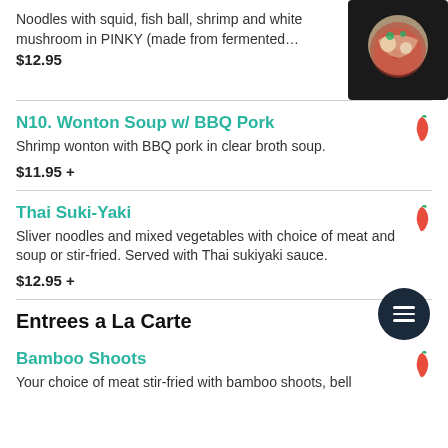Noodles with squid, fish ball, shrimp and white mushroom in PINKY (made from fermented…
$12.95
N10. Wonton Soup w/ BBQ Pork
Shrimp wonton with BBQ pork in clear broth soup.
$11.95 +
Thai Suki-Yaki
Sliver noodles and mixed vegetables with choice of meat and soup or stir-fried. Served with Thai sukiyaki sauce.
$12.95 +
Entrees a La Carte
Bamboo Shoots
Your choice of meat stir-fried with bamboo shoots, bell